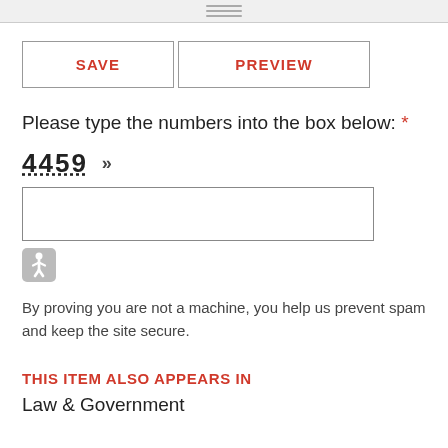[Figure (screenshot): Top bar with horizontal lines (scrollbar/drag handle area)]
SAVE   PREVIEW
Please type the numbers into the box below: *
4459 »
[Figure (other): Empty text input box for CAPTCHA entry]
[Figure (other): Accessibility icon (wheelchair symbol)]
By proving you are not a machine, you help us prevent spam and keep the site secure.
THIS ITEM ALSO APPEARS IN
Law & Government